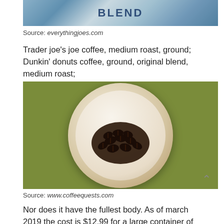[Figure (photo): Top portion of a yellow coffee canister with the word BLEND visible, cropped at the top of the page]
Source: everythingjoes.com
Trader joe's joe coffee, medium roast, ground; Dunkin' donuts coffee, ground, original blend, medium roast;
[Figure (photo): Overhead photo of dark roasted coffee beans piled in a white ceramic bowl/plate, placed on a green textured surface]
Source: www.coffeequests.com
Nor does it have the fullest body. As of march 2019 the cost is $12.99 for a large container of coffee